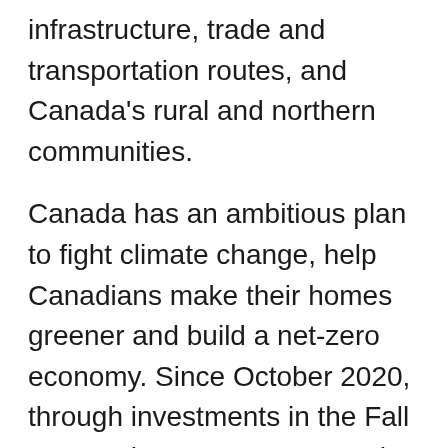infrastructure, trade and transportation routes, and Canada's rural and northern communities.
Canada has an ambitious plan to fight climate change, help Canadians make their homes greener and build a net-zero economy. Since October 2020, through investments in the Fall Economic Statement 2020, the Strengthened Climate Plan, and Budget 2021, Canada has invested $53 billion toward a green recovery that will create opportunities for all Canadians and support a transformation to a low-emissions energy future.